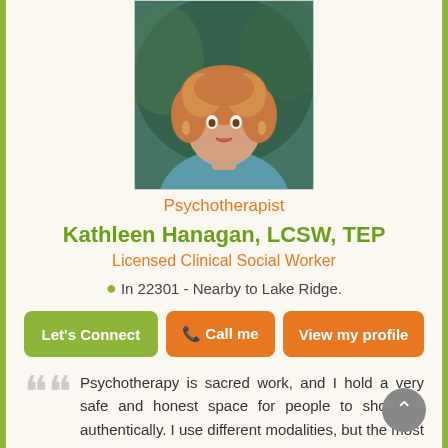[Figure (photo): Portrait photo of Kathleen Hanagan, a woman with curly reddish-blonde hair wearing a teal top and necklace, photographed outdoors.]
Psychotherapist
Kathleen Hanagan, LCSW, TEP
Licensed Clinical Social Worker
In 22301 - Nearby to Lake Ridge.
Let's Connect   Call me   View my profile
Psychotherapy is sacred work, and I hold a very safe and honest space for people to show up authentically. I use different modalities, but the most